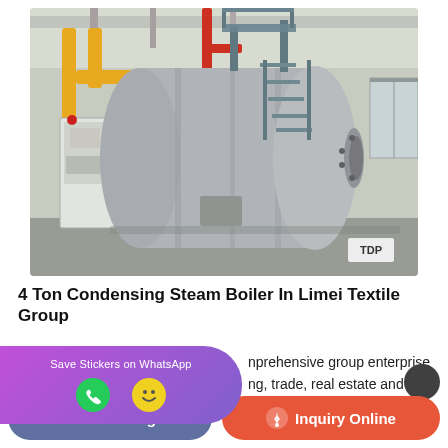[Figure (photo): Industrial steam boiler installation in a factory building. Large horizontal cylindrical grey boiler tank with access staircase, orange and red pipe infrastructure, electrical control cabinet on the left, and TDP label visible at bottom right.]
4 Ton Condensing Steam Boiler In Limei Textile Group
[Figure (other): WhatsApp sticker save banner with purple-to-violet gradient background, showing phone icon and smiley face icon]
nprehensive group enterprise ng, trade, real estate and finance. The...
leave message
Inquiry Online